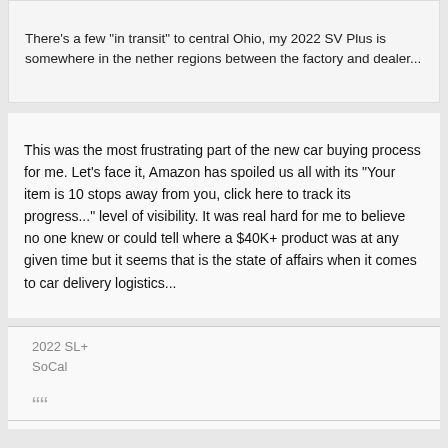There's a few "in transit" to central Ohio, my 2022 SV Plus is somewhere in the nether regions between the factory and dealer...
This was the most frustrating part of the new car buying process for me. Let's face it, Amazon has spoiled us all with its "Your item is 10 stops away from you, click here to track its progress..." level of visibility. It was real hard for me to believe no one knew or could tell where a $40K+ product was at any given time but it seems that is the state of affairs when it comes to car delivery logistics...
2022 SL+
SoCal
““